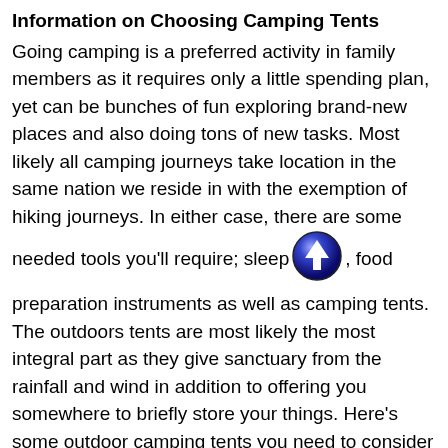Information on Choosing Camping Tents
Going camping is a preferred activity in family members as it requires only a little spending plan, yet can be bunches of fun exploring brand-new places and also doing tons of new tasks. Most likely all camping journeys take location in the same nation we reside in with the exemption of hiking journeys. In either case, there are some needed tools you'll require; sleeping [icon], food preparation instruments as well as camping tents. The outdoors tents are most likely the most integral part as they give sanctuary from the rainfall and wind in addition to offering you somewhere to briefly store your things. Here's some outdoor camping tents you need to consider if taking place a trip.
Great Tips For Buying Family Camping Tents
Camping is an enjoyable means to relax as well as take